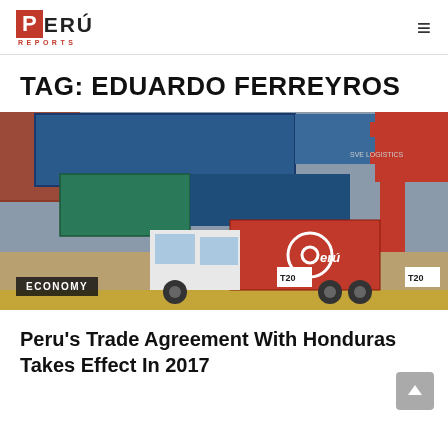PERÚ REPORTS
TAG: EDUARDO FERREYROS
[Figure (photo): Shipping containers and a red Peru-branded logistics truck at a port. An 'ECONOMY' label badge is overlaid in the lower-left corner of the image.]
Peru's Trade Agreement With Honduras Takes Effect In 2017